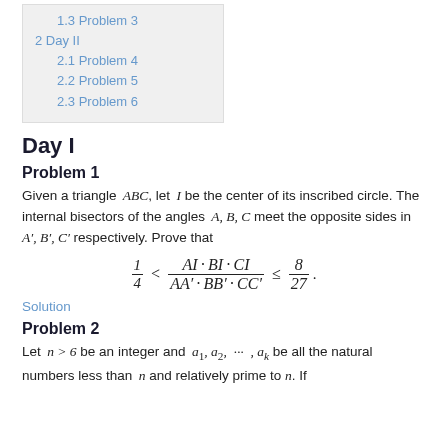1.3 Problem 3
2 Day II
2.1 Problem 4
2.2 Problem 5
2.3 Problem 6
Day I
Problem 1
Given a triangle ABC, let I be the center of its inscribed circle. The internal bisectors of the angles A, B, C meet the opposite sides in A', B', C' respectively. Prove that
Solution
Problem 2
Let n > 6 be an integer and a_1, a_2, ..., a_k be all the natural numbers less than n and relatively prime to n. If